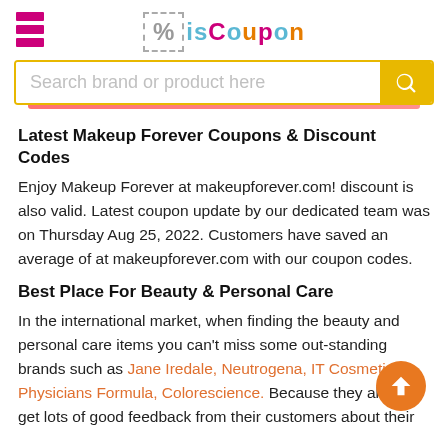isCoupon logo with hamburger menu
Search brand or product here
Latest Makeup Forever Coupons & Discount Codes
Enjoy Makeup Forever at makeupforever.com! discount is also valid. Latest coupon update by our dedicated team was on Thursday Aug 25, 2022. Customers have saved an average of at makeupforever.com with our coupon codes.
Best Place For Beauty & Personal Care
In the international market, when finding the beauty and personal care items you can't miss some out-standing brands such as Jane Iredale, Neutrogena, IT Cosmetics, Physicians Formula, Colorescience. Because they always get lots of good feedback from their customers about their